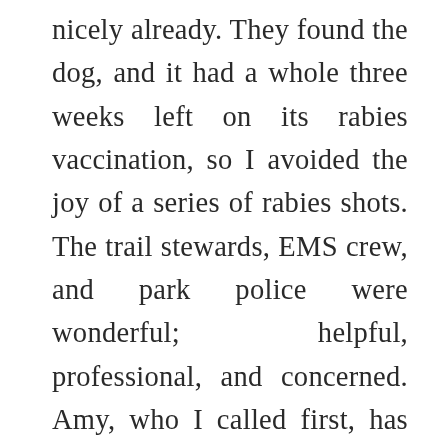nicely already. They found the dog, and it had a whole three weeks left on its rabies vaccination, so I avoided the joy of a series of rabies shots. The trail stewards, EMS crew, and park police were wonderful; helpful, professional, and concerned. Amy, who I called first, has been a trooper, and my in-laws pitched in to drive me to